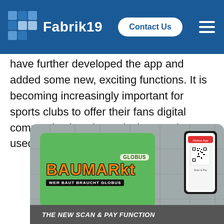[Figure (screenshot): Fabrik19 website header with logo (mosaic blue squares), brand name 'Fabrik19', 'Contact Us' button, and hamburger menu on dark blue background]
have further developed the app and added some new, exciting functions. It is becoming increasingly important for sports clubs to offer their fans digital communication channels that can be used intuitively...
[Figure (photo): Globus Baumarkt promotional image showing a green loyalty card with 'BAUMARKT' in orange letters, 'WER BAUT BRAUCHT GLOBUS' tagline, a smartphone with QR code, and 'THE NEW SCAN & PAY FUNCTION' text at the bottom, set against a warehouse background]